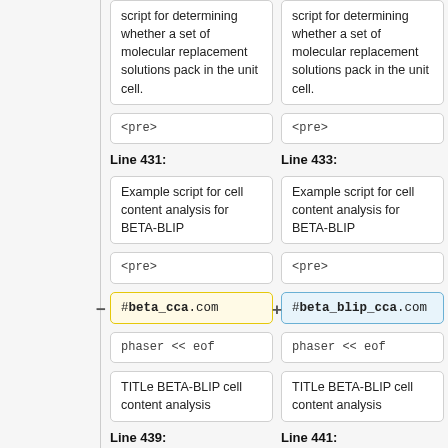script for determining whether a set of molecular replacement solutions pack in the unit cell.
script for determining whether a set of molecular replacement solutions pack in the unit cell.
<pre>
<pre>
Line 431:
Line 433:
Example script for cell content analysis for BETA-BLIP
Example script for cell content analysis for BETA-BLIP
<pre>
<pre>
#beta_cca.com
#beta_blip_cca.com
phaser << eof
phaser << eof
TITLe BETA-BLIP cell content analysis
TITLe BETA-BLIP cell content analysis
Line 439:
Line 441: